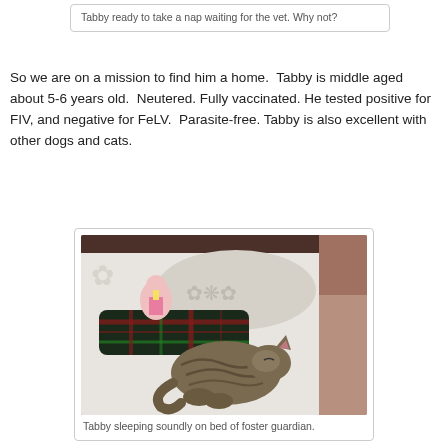Tabby ready to take a nap waiting for the vet. Why not?
So we are on a mission to find him a home.  Tabby is middle aged about 5-6 years old.  Neutered. Fully vaccinated. He tested positive for FIV, and negative for FeLV.  Parasite-free. Tabby is also excellent with other dogs and cats.
[Figure (photo): Tabby the cat sleeping curled up on a bed with patterned bedding and pillows, including a tartan/plaid bolster pillow and stuffed animals.]
Tabby sleeping soundly on bed of foster guardian.